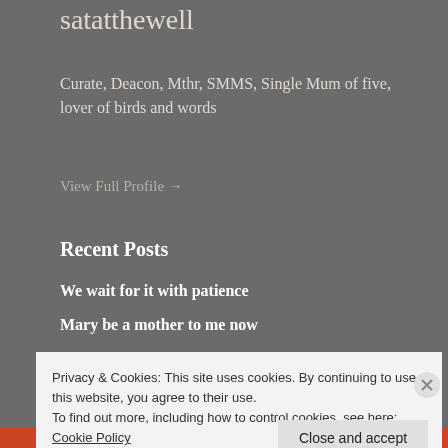satatthewell
Curate, Deacon, Mthr, SMMS, Single Mum of five, lover of birds and words
View Full Profile →
Recent Posts
We wait for it with patience
Mary be a mother to me now
Dripping from the honeycomb
Privacy & Cookies: This site uses cookies. By continuing to use this website, you agree to their use.
To find out more, including how to control cookies, see here: Cookie Policy
Close and accept